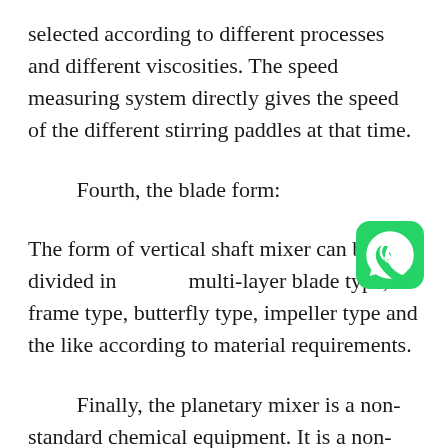selected according to different processes and different viscosities. The speed measuring system directly gives the speed of the different stirring paddles at that time.
Fourth, the blade form:
The form of vertical shaft mixer can be divided into multi-layer blade type, frame type, butterfly type, impeller type and the like according to material requirements.
Finally, the planetary mixer is a non-standard chemical equipment. It is a non-standard machine. When the user determines what products to produce and what